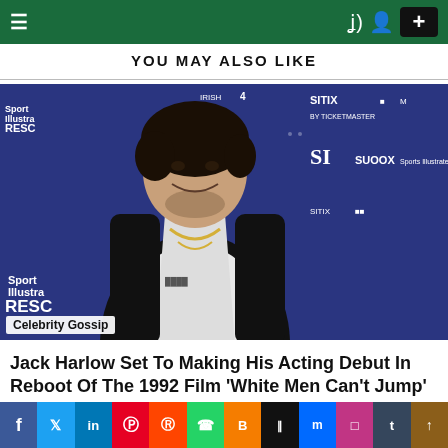Navigation bar with menu, dark mode, user icon, and + button
YOU MAY ALSO LIKE
[Figure (photo): Man in white hoodie and black vest posing in front of a Sports Illustrated backdrop with SI TIX branding]
Celebrity Gossip
Jack Harlow Set To Making His Acting Debut In Reboot Of The 1992 Film 'White Men Can't Jump'
Social sharing bar: Facebook, Twitter, LinkedIn, Pinterest, Reddit, WhatsApp, Blogger, Buffer, Messenger, Instagram, Tumblr, scroll-to-top